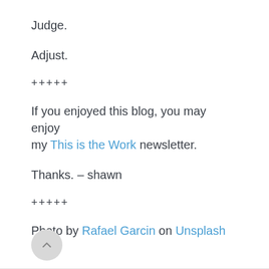Judge.
Adjust.
+++++
If you enjoyed this blog, you may enjoy my This is the Work newsletter.
Thanks. – shawn
+++++
Photo by Rafael Garcin on Unsplash